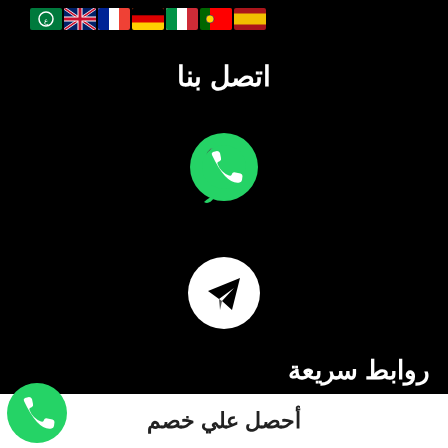[Figure (illustration): Row of country flag icons: Spain, Portugal, Italy, Germany, France, UK, and an Arabic-script flag]
اتصل بنا
[Figure (logo): WhatsApp green phone icon in speech bubble]
[Figure (logo): Telegram icon: white paper plane in white circle on black background]
روابط سريعة
الرئيسيه
الاشتراكات
تحميل التطبيقات
[Figure (logo): WhatsApp green phone icon in circle, bottom left corner]
أحصل علي خصم